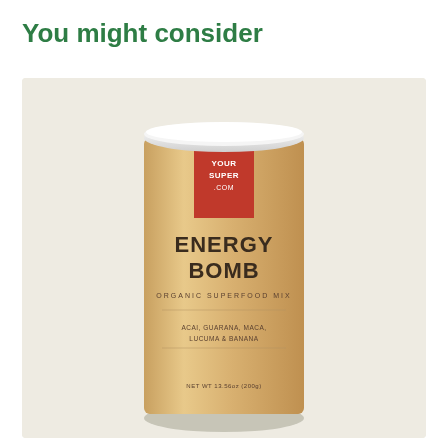You might consider
[Figure (photo): Product photo of Your Super Energy Bomb organic superfood mix in a kraft paper cylindrical canister with white lid and red brand label. Text on the canister reads: YOUR SUPER .COM, ENERGY BOMB, ORGANIC SUPERFOOD MIX, ACAI, GUARANA, MACA, LUCUMA & BANANA, NET WT 13.56oz (200g).]